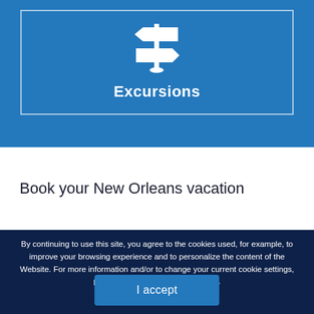[Figure (illustration): Blue box with a white directional signpost icon and the word Excursions below it]
Book your New Orleans vacation
By continuing to use this site, you agree to the cookies used, for example, to improve your browsing experience and to personalize the content of the Website. For more information and/or to change your current cookie settings, please refer to our Cookies Policy.
I accept